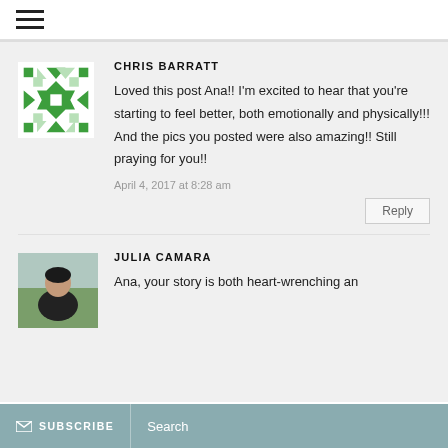☰ (hamburger menu)
CHRIS BARRATT
Loved this post Ana!! I'm excited to hear that you're starting to feel better, both emotionally and physically!!! And the pics you posted were also amazing!! Still praying for you!!
April 4, 2017 at 8:28 am
Reply
JULIA CAMARA
Ana, your story is both heart-wrenching an
✉ SUBSCRIBE   Search